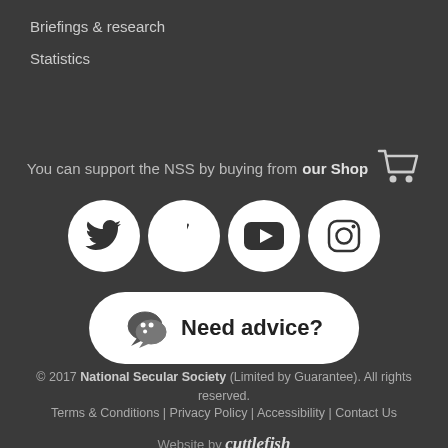Briefings & research
Statistics
You can support the NSS by buying from our Shop
[Figure (illustration): Four social media icons in white circles: Twitter, Facebook, YouTube, Instagram]
[Figure (illustration): Need advice? button with chat bubble icon]
© 2017 National Secular Society (Limited by Guarantee). All rights reserved.
Terms & Conditions | Privacy Policy | Accessibility | Contact Us
Website by cuttlefish